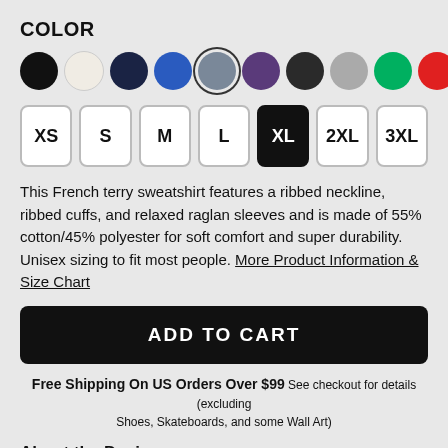COLOR
[Figure (other): Color swatch selector with 11 circular swatches: black, cream/white, navy, blue, grey (selected with ring), purple, dark grey/charcoal, grey, green, red, pink]
[Figure (other): Size selector buttons: XS, S, M, L, XL (selected/black), 2XL, 3XL]
This French terry sweatshirt features a ribbed neckline, ribbed cuffs, and relaxed raglan sleeves and is made of 55% cotton/45% polyester for soft comfort and super durability. Unisex sizing to fit most people. More Product Information & Size Chart
ADD TO CART
Free Shipping On US Orders Over $99 See checkout for details (excluding Shoes, Skateboards, and some Wall Art)
About the Design
Retractable claws isn't a power... fast healing purring is.